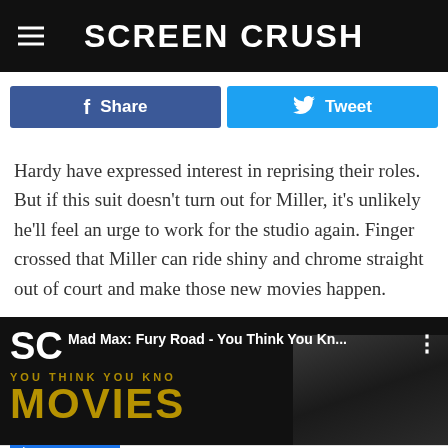SCREEN CRUSH
Share   Tweet
Hardy have expressed interest in reprising their roles. But if this suit doesn't turn out for Miller, it's unlikely he'll feel an urge to work for the studio again. Finger crossed that Miller can ride shiny and chrome straight out of court and make those new movies happen.
[Figure (screenshot): ScreenCrush video thumbnail for Mad Max: Fury Road - You Think You Know Movies, showing golden movie marquee letters spelling MOVIES on a black background with a person visible on the right side]
[Figure (screenshot): Advertisement for BitLife - Life Simulator app with Install button]